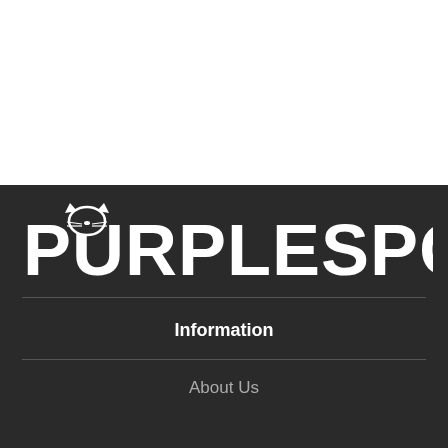[Figure (logo): PURPLESPOILZ logo in large bold white rounded letters on dark background, with cat ears/face detail on the U]
Information
About Us